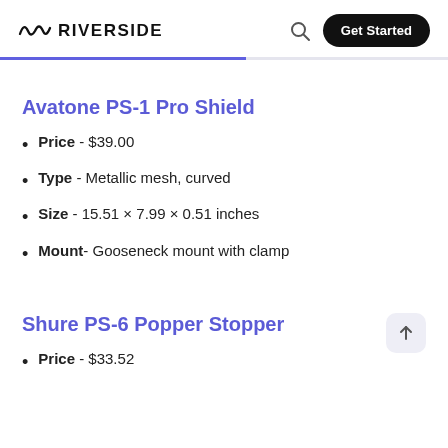RIVERSIDE | Get Started
Avatone PS-1 Pro Shield
Price - $39.00
Type - Metallic mesh, curved
Size - 15.51 × 7.99 × 0.51 inches
Mount- Gooseneck mount with clamp
Shure PS-6 Popper Stopper
Price - $33.52